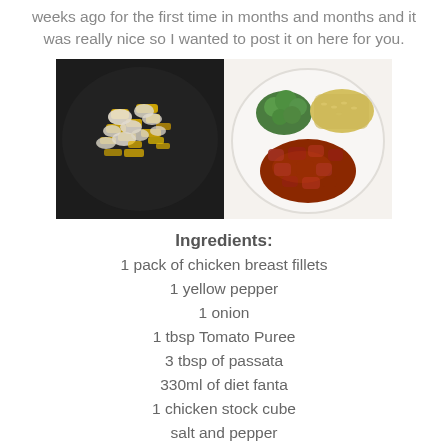weeks ago for the first time in months and months and it was really nice so I wanted to post it on here for you.
[Figure (photo): Two food photos side by side: left shows diced chicken and yellow pepper cooking in a dark pan; right shows a finished plate with broccoli, yellow rice, and sauced chicken pieces.]
Ingredients:
1 pack of chicken breast fillets
1 yellow pepper
1 onion
1 tbsp Tomato Puree
3 tbsp of passata
330ml of diet fanta
1 chicken stock cube
salt and pepper